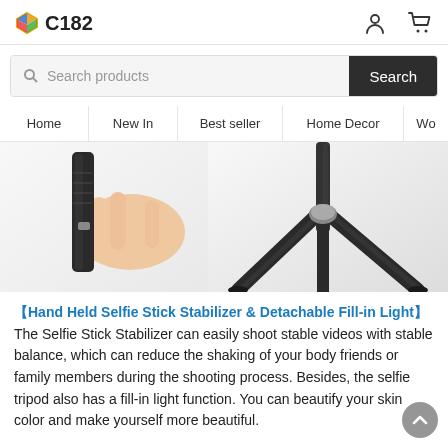C182
[Figure (screenshot): Search bar with 'Search products' placeholder and a dark 'Search' button on the right]
[Figure (screenshot): Navigation menu with items: Home, New In, Best seller, Home Decor, Wo...]
[Figure (photo): Product photo showing a hand holding a selfie stick stabilizer on the left, and a detachable tripod/stand on the right against a white background]
【Hand Held Selfie Stick Stabilizer & Detachable Fill-in Light】The Selfie Stick Stabilizer can easily shoot stable videos with stable balance, which can reduce the shaking of your body friends or family members during the shooting process. Besides, the selfie tripod also has a fill-in light function. You can beautify your skin color and make yourself more beautiful.